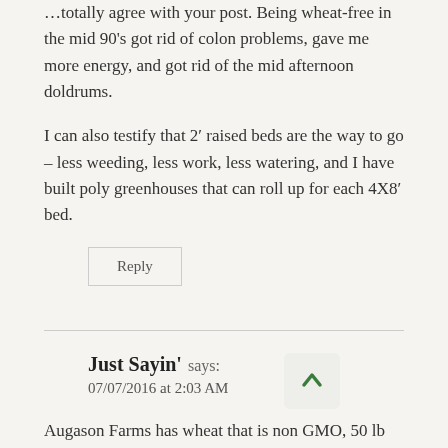…totally agree with your post. Being wheat-free in the mid 90's got rid of colon problems, gave me more energy, and got rid of the mid afternoon doldrums.
I can also testify that 2′ raised beds are the way to go – less weeding, less work, less watering, and I have built poly greenhouses that can roll up for each 4X8′ bed.
Reply
Just Sayin' says:
07/07/2016 at 2:03 AM
Augason Farms has wheat that is non GMO, 50 lb